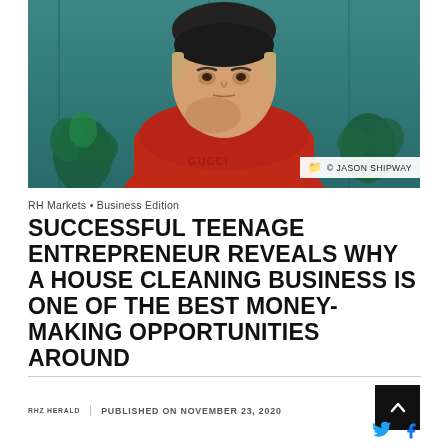[Figure (photo): Young man in a red hoodie, chin resting on hand, thoughtful expression, teal/green background with plants. Photo credit: Jason Shipway.]
© JASON SHIPWAY
RH Markets • Business Edition
SUCCESSFUL TEENAGE ENTREPRENEUR REVEALS WHY A HOUSE CLEANING BUSINESS IS ONE OF THE BEST MONEY-MAKING OPPORTUNITIES AROUND
RHZ HERALD  |  PUBLISHED ON NOVEMBER 23, 2020